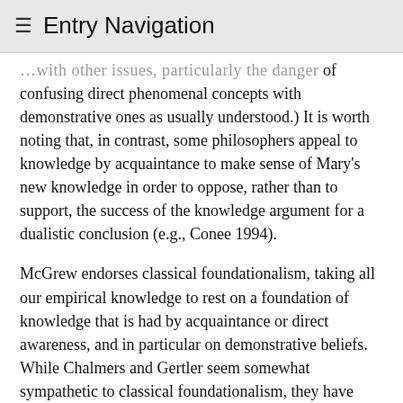≡ Entry Navigation
…with other issues, particularly the danger of confusing direct phenomenal concepts with demonstrative ones as usually understood.) It is worth noting that, in contrast, some philosophers appeal to knowledge by acquaintance to make sense of Mary's new knowledge in order to oppose, rather than to support, the success of the knowledge argument for a dualistic conclusion (e.g., Conee 1994).
McGrew endorses classical foundationalism, taking all our empirical knowledge to rest on a foundation of knowledge that is had by acquaintance or direct awareness, and in particular on demonstrative beliefs. While Chalmers and Gertler seem somewhat sympathetic to classical foundationalism, they have been concerned primarily to defend the claim that at least some introspective beliefs or beliefs regarding one's own phenomenal states constitute the most secure sort of empirical, noninferential knowledge or justified belief, and that these beliefs owe their privileged epistemic status to acquaintance. Thus, Gertler (2012) endorses the